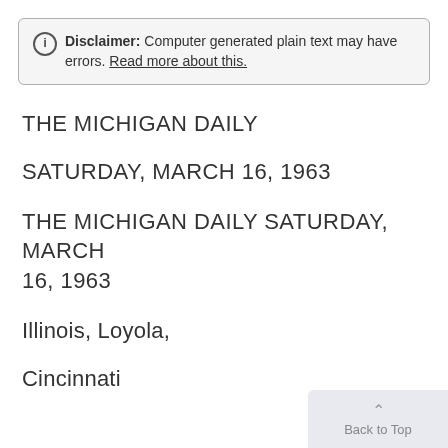Disclaimer: Computer generated plain text may have errors. Read more about this.
THE MICHIGAN DAILY
SATURDAY, MARCH 16, 1963
THE MICHIGAN DAILY SATURDAY, MARCH 16, 1963
Illinois, Loyola,
Cincinnati